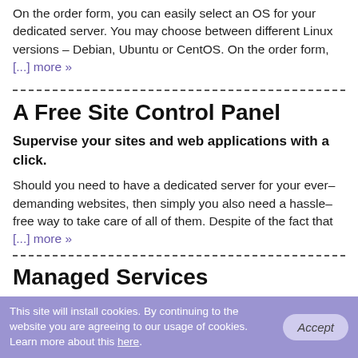On the order form, you can easily select an OS for your dedicated server. You may choose between different Linux versions – Debian, Ubuntu or CentOS. On the order form, [...] more »
A Free Site Control Panel
Supervise your sites and web applications with a click.
Should you need to have a dedicated server for your ever–demanding websites, then simply you also need a hassle–free way to take care of all of them. Despite of the fact that [...] more »
Managed Services
This site will install cookies. By continuing to the website you are agreeing to our usage of cookies. Learn more about this here.